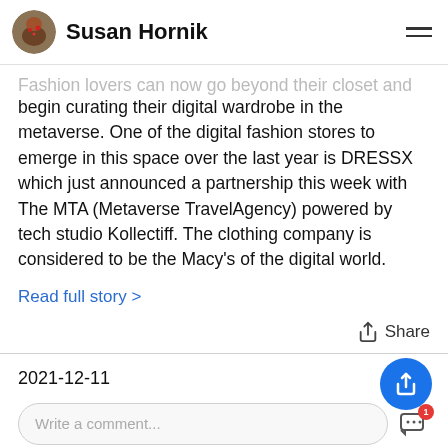Susan Hornik
Fashion lovers can now go beyond their closet and begin curating their digital wardrobe in the metaverse. One of the digital fashion stores to emerge in this space over the last year is DRESSX which just announced a partnership this week with The MTA (Metaverse TravelAgency) powered by tech studio Kollectiff. The clothing company is considered to be the Macy's of the digital world.
Read full story >
Share
2021-12-11
Write a comment...